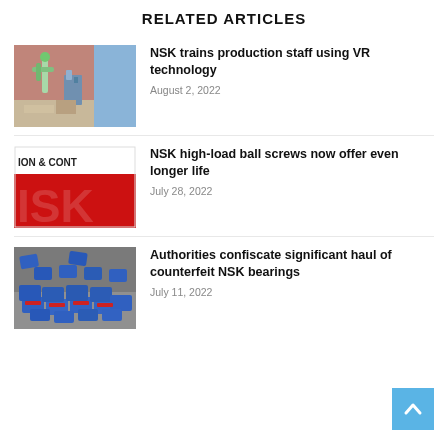RELATED ARTICLES
[Figure (photo): Photo of a VR training scene with robotic arm in an industrial setting]
NSK trains production staff using VR technology
August 2, 2022
[Figure (photo): ISK magazine cover with red and black branding showing 'ION & CONT' and 'ISK' logo]
NSK high-load ball screws now offer even longer life
July 28, 2022
[Figure (photo): Photo of a haul of counterfeit NSK bearings in blue packaging arranged on a surface]
Authorities confiscate significant haul of counterfeit NSK bearings
July 11, 2022